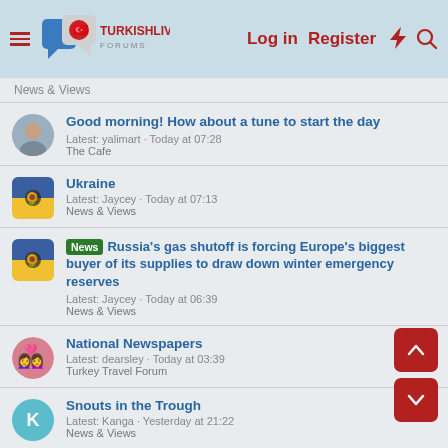Turkish Living Forums — Log in | Register
News & Views
Good morning! How about a tune to start the day
Latest: yalimart · Today at 07:28
The Cafe
Ukraine
Latest: Jaycey · Today at 07:13
News & Views
[News] Russia's gas shutoff is forcing Europe's biggest buyer of its supplies to draw down winter emergency reserves
Latest: Jaycey · Today at 06:39
News & Views
National Newspapers
Latest: dearsley · Today at 03:39
Turkey Travel Forum
Snouts in the Trough
Latest: Kanga · Yesterday at 21:22
News & Views